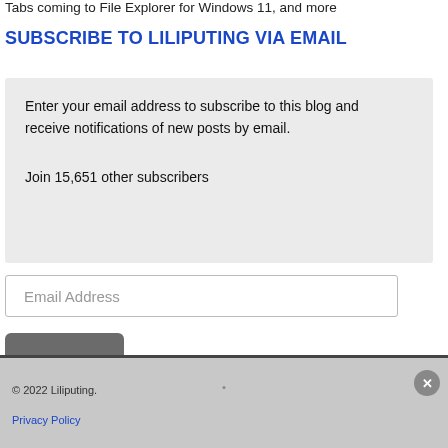Tabs coming to File Explorer for Windows 11, and more
SUBSCRIBE TO LILIPUTING VIA EMAIL
Enter your email address to subscribe to this blog and receive notifications of new posts by email.

Join 15,651 other subscribers
Email Address
Subscribe
© 2022 Liliputing.
Privacy Policy